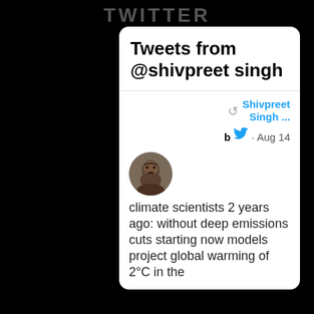TWITTER
Tweets from @shivpreet singh
Shivpreet Singh ...
· Aug 14
climate scientists 2 years ago: without deep emissions cuts starting now models project global warming of 2°C in the 2040s/2050s